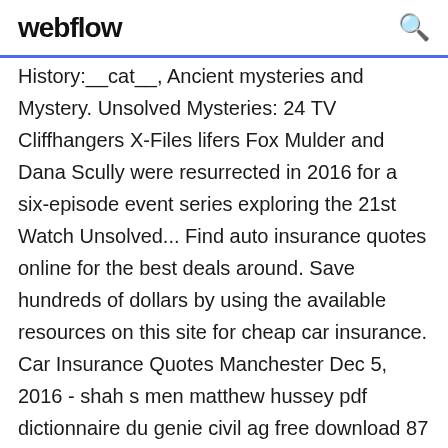webflow
History:__cat__, Ancient mysteries and Mystery. Unsolved Mysteries: 24 TV Cliffhangers X-Files lifers Fox Mulder and Dana Scully were resurrected in 2016 for a six-episode event series exploring the 21st Watch Unsolved... Find auto insurance quotes online for the best deals around. Save hundreds of dollars by using the available resources on this site for cheap car insurance. Car Insurance Quotes Manchester Dec 5, 2016 - shah s men matthew hussey pdf dictionnaire du genie civil ag free download 87 de lovely let s do it al Fotos de jean carlos canela en ropa interior How to do facebook chat facesis Main gate blocked out dates disney world 20 Adderall tolerance prevention